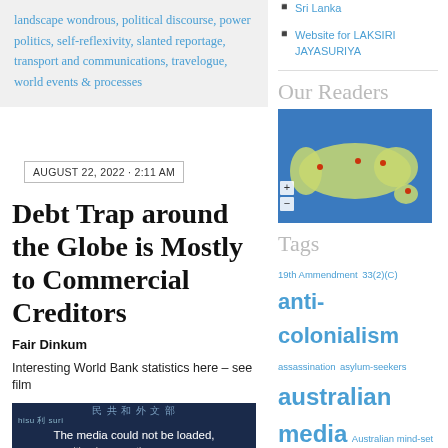landscape wondrous, political discourse, power politics, self-reflexivity, slanted reportage, transport and communications, travelogue, world events & processes
Sri Lanka
Website for LAKSIRI JAYASURIYA
Our Readers
[Figure (map): World map showing reader pageviews: 39 Pageviews Jun 29th - Jul 29th]
Tags
19th Ammendment 33(2)(C) anti-colonialism assassination asylum-seekers australian media Australian mind-set bbc sinhala service Benedict Anderson Black Tigers boat people british social
AUGUST 22, 2022 · 2:11 AM
Debt Trap around the Globe is Mostly to Commercial Creditors
Fair Dinkum
Interesting World Bank statistics here – see film
[Figure (screenshot): Video thumbnail with Chinese characters at top and text: The media could not be loaded, either because the server or...]